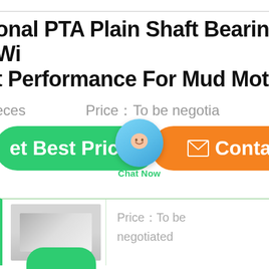onal PTA Plain Shaft Bearing Wi
t Performance For Mud Motor
eces   Price：To be negotia
[Figure (screenshot): Get Best Price green button, Chat Now chat bubble overlay, and Contact orange button]
[Figure (photo): Product image of shaft bearing component, partially visible]
Price：To be negotiated